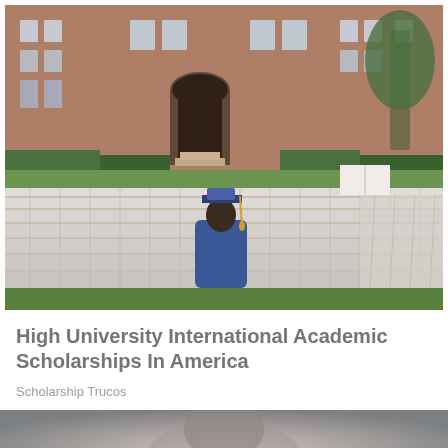[Figure (photo): A graduate in blue cap and gown sitting alone among rows of empty white folding chairs, facing a large brick university building. The setting appears to be an outdoor graduation ceremony setup.]
High University International Academic Scholarships In America
Scholarship Trucos
[Figure (photo): Partial photo at bottom of page, blurred, showing a person's head/face.]